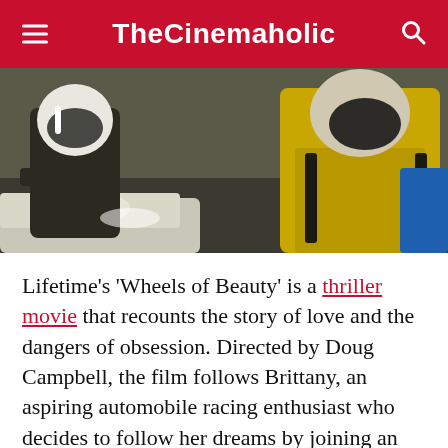TheCinemaholic
[Figure (photo): Two people in racing gear and helmets, one wearing a yellow and black racing suit, standing near a racing car]
Lifetime’s ‘Wheels of Beauty’ is a thriller movie that recounts the story of love and the dangers of obsession. Directed by Doug Campbell, the film follows Brittany, an aspiring automobile racing enthusiast who decides to follow her dreams by joining an auto racing school. Unfortunately, her life takes an unprecedented turn when Andrew, her mentally unstable instructor, becomes